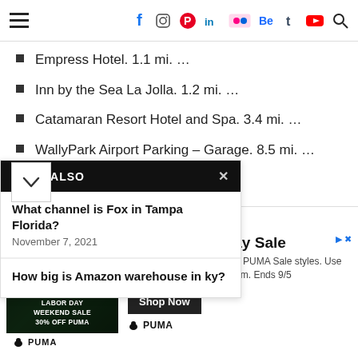Navigation bar with hamburger menu and social icons: Facebook, Instagram, Pinterest, LinkedIn, Flickr, Behance, Tumblr, YouTube, Search
Empress Hotel. 1.1 mi. …
Inn by the Sea La Jolla. 1.2 mi. …
Catamaran Resort Hotel and Spa. 3.4 mi. …
WallyPark Airport Parking – Garage. 8.5 mi. …
… mi.
rking free?
or free and a short 3 min … et to the La Jolla Shores
READ ALSO
What channel is Fox in Tampa Florida?
November 7, 2021
How big is Amazon warehouse in ky?
[Figure (screenshot): PUMA Labor Day Sale advertisement banner with photo of person wearing PUMA gear, text 'LABOR DAY WEEKEND SALE 30% OFF PUMA', headline 'PUMA Labor Day Sale', body 'Save 30% on your favorite PUMA Sale styles. Use code SIZZLE on PUMA.com. Ends 9/5', and 'Shop Now' button.]